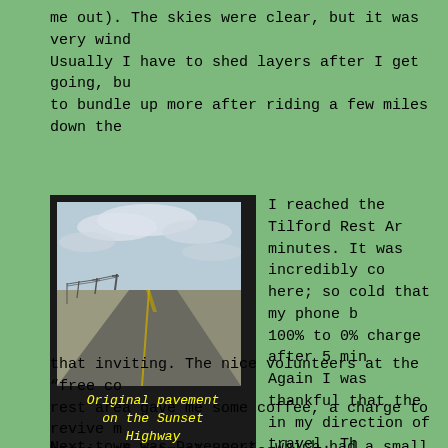me out). The skies were clear, but it was very wind. Usually I have to shed layers after I get going, but to bundle up more after riding a few miles down the
[Figure (photo): A long straight road (Sunset Highway) stretching into the horizon with telephone poles on the left side and flat grassland on either side under a cloudy sky.]
Original pavement on the Sunset Highway
I reached the Tilford Rest Ar minutes. It was incredibly co here; so cold that my phone b 100% to 0% charge after 5 min Again I was thankful that the in my direction of travel. Th near the Tilford recreation a wanted to camp before last ni thought about spending some t area, but I was eager to make progress, plus the chilly win that inviting. The nice volunteers at the “free co rest area gave me some coffee, a charge to revive m baggie of oatmeal cookies.
Next town was Davenport, which had a small park wit